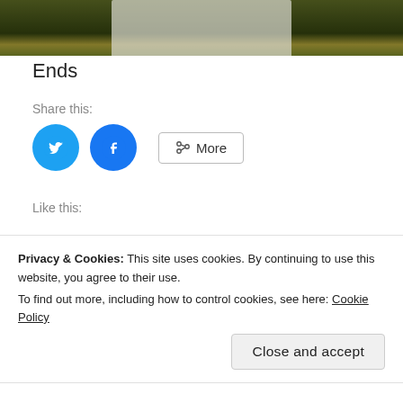[Figure (photo): Partial photo of a person wearing a lanyard, with green and yellow background, partially obscured, cropped at top.]
Ends
Share this:
[Figure (infographic): Twitter share button (blue circle with bird icon), Facebook share button (blue circle with f icon), and More button with share icon.]
Like this:
[Figure (infographic): Like button with star icon and 'Like' text, styled as a rounded rectangle button.]
Privacy & Cookies: This site uses cookies. By continuing to use this website, you agree to their use.
To find out more, including how to control cookies, see here: Cookie Policy
Close and accept